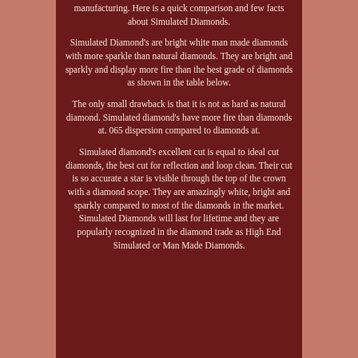manufacturing. Here is a quick comparison and few facts about Simulated Diamonds.
Simulated Diamond's are bright white man made diamonds with more sparkle than natural diamonds. They are bright and sparkly and display more fire than the best grade of diamonds as shown in the table below.
The only small drawback is that it is not as hard as natural diamond. Simulated diamond's have more fire than diamonds at. 065 dispersion compared to diamonds at.
Simulated diamond's excellent cut is equal to ideal cut diamonds, the best cut for reflection and loop clean. Their cut is so accurate a star is visible through the top of the crown with a diamond scope. They are amazingly white, bright and sparkly compared to most of the diamonds in the market. Simulated Diamonds will last for lifetime and they are popularly recognized in the diamond trade as High End Simulated or Man Made Diamonds.